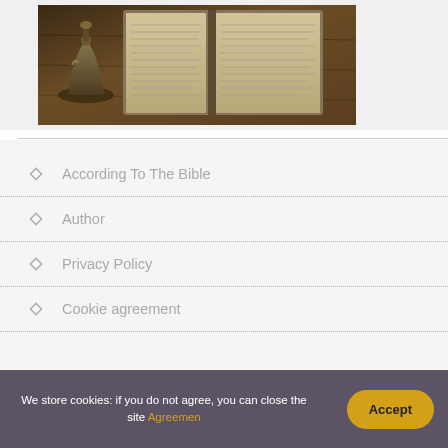[Figure (photo): Open Bible book with a brass bell/lamp on a wooden table, photographed from above at an angle]
According To The Bible
Author
Privacy Policy
Cookie agreement
We store cookies: if you do not agree, you can close the site Agreement
Accept